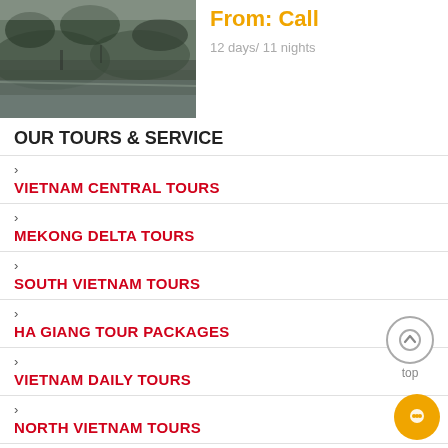[Figure (photo): Landscape photo showing a river or lake scene with misty water and trees in the background]
From: Call
12 days/ 11 nights
OUR TOURS & SERVICE
VIETNAM CENTRAL TOURS
MEKONG DELTA TOURS
SOUTH VIETNAM TOURS
HA GIANG TOUR PACKAGES
VIETNAM DAILY TOURS
NORTH VIETNAM TOURS
SAPA TOURS
VIETNAM ADVENTURE TOURS
HANOI TOUR PACKAGES